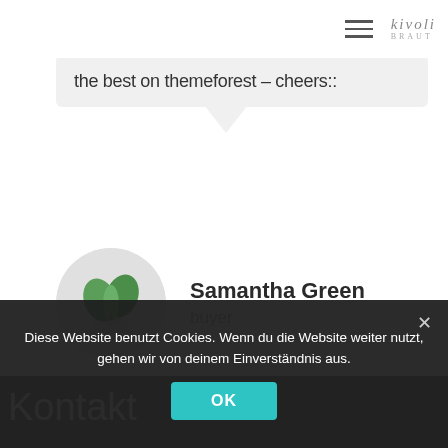kivoli BRAUT — navigation header with hamburger menu and logo
the best on themeforest – cheers::
Samantha Green
buyer
Kontakt
Diese Website benutzt Cookies. Wenn du die Website weiter nutzt, gehen wir von deinem Einverständnis aus.